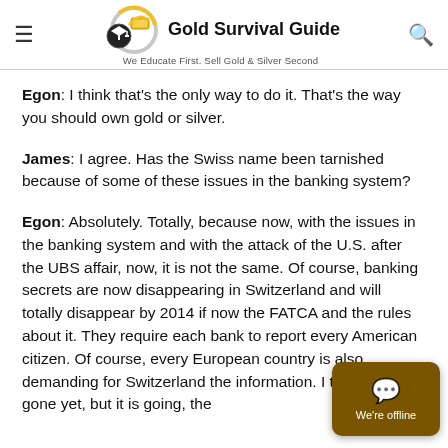Gold Survival Guide — We Educate First. Sell Gold & Silver Second
Egon: I think that's the only way to do it. That's the way you should own gold or silver.
James: I agree. Has the Swiss name been tarnished because of some of these issues in the banking system?
Egon: Absolutely. Totally, because now, with the issues in the banking system and with the attack of the U.S. after the UBS affair, now, it is not the same. Of course, banking secrets are now disappearing in Switzerland and will totally disappear by 2014 if now the FATCA and the rules about it. They require each bank to report every American citizen. Of course, every European country is also demanding for Switzerland the information. I think it's not gone yet, but it is going, the